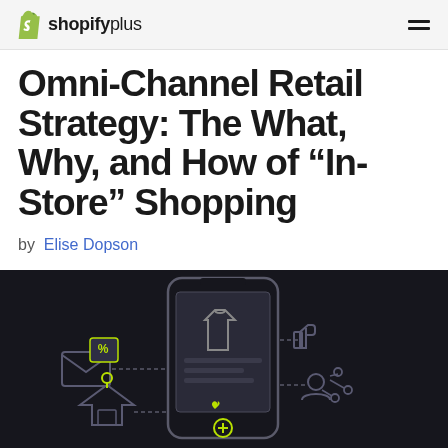shopifyplus
Omni-Channel Retail Strategy: The What, Why, and How of “In-Store” Shopping
by Elise Dopson
[Figure (illustration): Dark background illustration showing a smartphone with a t-shirt product image, connected by dashed lines to icons representing email with discount percentage, a store location pin, a thumbs up (like), a person/social sharing icon — representing omni-channel retail touchpoints.]